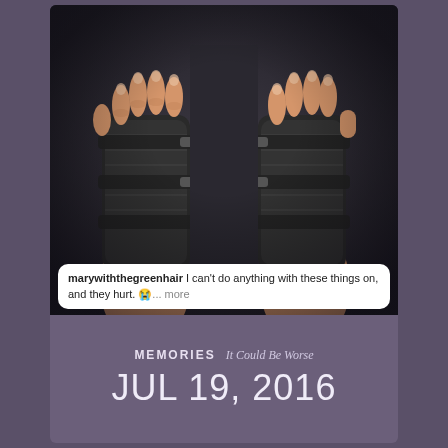[Figure (photo): Photo of two hands wearing black wrist braces/supports pressed against a dark surface, viewed from above. The braces cover both wrists with velcro straps and mesh material. Fingers are visible at the top.]
marywiththegreenhair I can't do anything with these things on, and they hurt. 😭... more
MEMORIES  It Could Be Worse
JUL 19, 2016